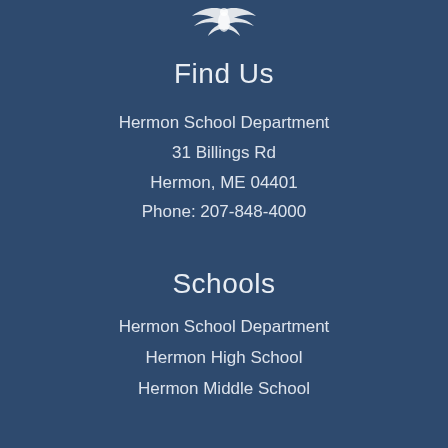[Figure (logo): Hermon School Department logo/emblem at top center, white on dark blue background]
Find Us
Hermon School Department
31 Billings Rd
Hermon, ME 04401
Phone: 207-848-4000
Schools
Hermon School Department
Hermon High School
Hermon Middle School